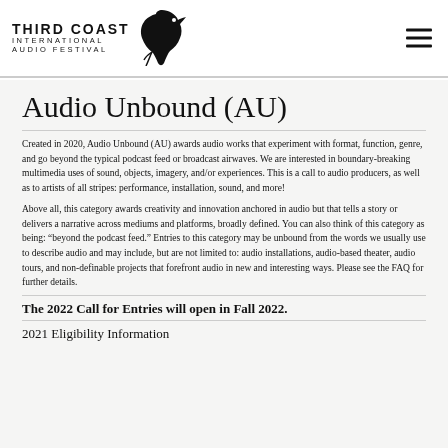THIRD COAST INTERNATIONAL AUDIO FESTIVAL
Audio Unbound (AU)
Created in 2020, Audio Unbound (AU) awards audio works that experiment with format, function, genre, and go beyond the typical podcast feed or broadcast airwaves. We are interested in boundary-breaking multimedia uses of sound, objects, imagery, and/or experiences. This is a call to audio producers, as well as to artists of all stripes: performance, installation, sound, and more!
Above all, this category awards creativity and innovation anchored in audio but that tells a story or delivers a narrative across mediums and platforms, broadly defined. You can also think of this category as being: “beyond the podcast feed.” Entries to this category may be unbound from the words we usually use to describe audio and may include, but are not limited to: audio installations, audio-based theater, audio tours, and non-definable projects that forefront audio in new and interesting ways. Please see the FAQ for further details.
The 2022 Call for Entries will open in Fall 2022.
2021 Eligibility Information